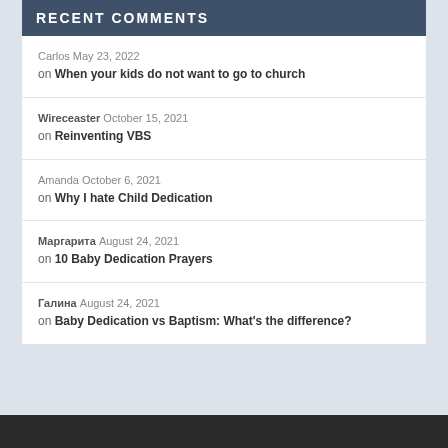RECENT COMMENTS
Carlos May 23, 2022 on When your kids do not want to go to church
Wireceaster October 15, 2021 on Reinventing VBS
Amanda October 6, 2021 on Why I hate Child Dedication
Маргарита August 24, 2021 on 10 Baby Dedication Prayers
Галина August 24, 2021 on Baby Dedication vs Baptism: What's the difference?